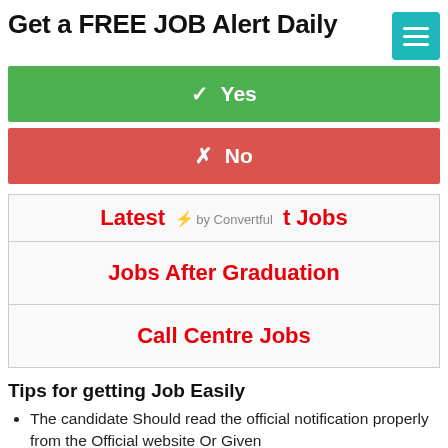Get a FREE JOB Alert Daily
✓ Yes
✗ No
| Latest ⚡ by Convertful t Jobs |
| Jobs After Graduation |
| Call Centre Jobs |
Tips for getting Job Easily
The candidate Should read the official notification properly from the Official website Or Given